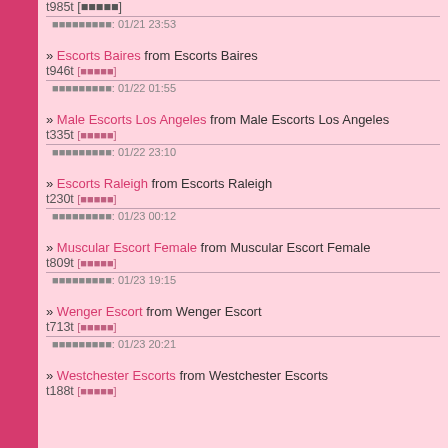t985t [■■■■■]
■■■■■■■■■: 01/21 23:53
» Escorts Baires from Escorts Baires
t946t [■■■■■]
■■■■■■■■■: 01/22 01:55
» Male Escorts Los Angeles from Male Escorts Los Angeles
t335t [■■■■■]
■■■■■■■■■: 01/22 23:10
» Escorts Raleigh from Escorts Raleigh
t230t [■■■■■]
■■■■■■■■■: 01/23 00:12
» Muscular Escort Female from Muscular Escort Female
t809t [■■■■■]
■■■■■■■■■: 01/23 19:15
» Wenger Escort from Wenger Escort
t713t [■■■■■]
■■■■■■■■■: 01/23 20:21
» Westchester Escorts from Westchester Escorts
t188t [■■■■■]